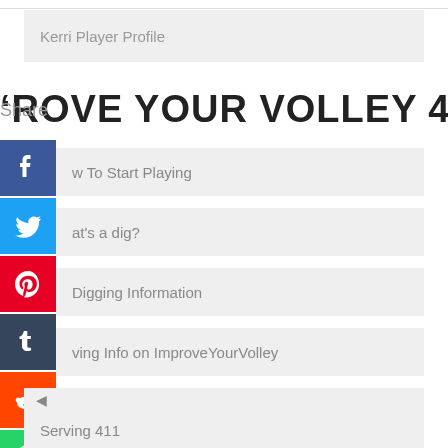Kerri Player Profile
PROVE YOUR VOLLEY 411
Share
How To Start Playing
What's a dig?
Digging Information
Serving Info on ImproveYourVolley
Serving 411